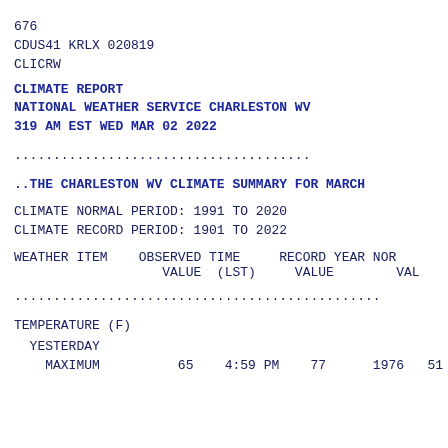676
CDUS41 KRLX 020819
CLICRW
CLIMATE REPORT
NATIONAL WEATHER SERVICE CHARLESTON WV
319 AM EST WED MAR 02 2022
..............................
..THE CHARLESTON WV CLIMATE SUMMARY FOR MARCH
CLIMATE NORMAL PERIOD: 1991 TO 2020
CLIMATE RECORD PERIOD: 1901 TO 2022
| WEATHER ITEM | OBSERVED VALUE | TIME (LST) | RECORD VALUE | YEAR | NOR VAL |
| --- | --- | --- | --- | --- | --- |
..........................................
TEMPERATURE (F)
YESTERDAY
    MAXIMUM          65    4:59 PM    77      1976   51